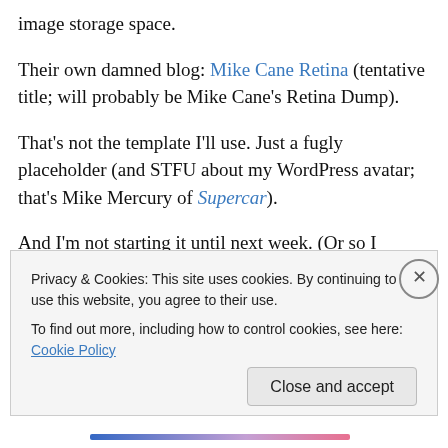image storage space.
Their own damned blog: Mike Cane Retina (tentative title; will probably be Mike Cane's Retina Dump).
That’s not the template I’ll use. Just a fugly placeholder (and STFU about my WordPress avatar; that’s Mike Mercury of Supercar).
And I’m not starting it until next week. (Or so I think.)
I have new iPad Pro images from this weekend that were hell to get stored online somewhere. They’re just so
Privacy & Cookies: This site uses cookies. By continuing to use this website, you agree to their use.
To find out more, including how to control cookies, see here: Cookie Policy
Close and accept